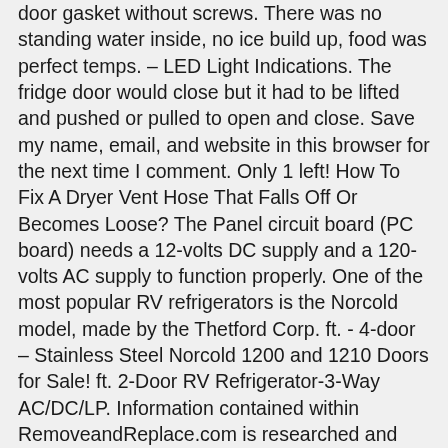door gasket without screws. There was no standing water inside, no ice build up, food was perfect temps. – LED Light Indications. The fridge door would close but it had to be lifted and pushed or pulled to open and close. Save my name, email, and website in this browser for the next time I comment. Only 1 left! How To Fix A Dryer Vent Hose That Falls Off Or Becomes Loose? The Panel circuit board (PC board) needs a 12-volts DC supply and a 120-volts AC supply to function properly. One of the most popular RV refrigerators is the Norcold model, made by the Thetford Corp. ft. - 4-door – Stainless Steel Norcold 1200 and 1210 Doors for Sale! ft. 2-Door RV Refrigerator-3-Way AC/DC/LP. Information contained within RemoveandReplace.com is researched and backed by experienced DIY technicians. Refrigerator Doors. ft. 2-way, Right Swing Door-Polar 7LX NA7LXR Refrigerator / Freezer Right Hand 7 Cubic Foot New state-of-th Your Price: $1,324.98 For Sale. FREE Shipping by Amazon. With our 2015 Bighorn 3010RE we just went past our 12 month of ownership and the refrigerator stopped